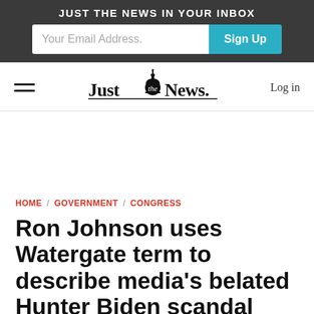JUST THE NEWS IN YOUR INBOX
Your Email Address.
Sign Up
[Figure (logo): Just the News logo with Capitol dome icon]
Log in
HOME / GOVERNMENT / CONGRESS
Ron Johnson uses Watergate term to describe media's belated Hunter Biden scandal coverage